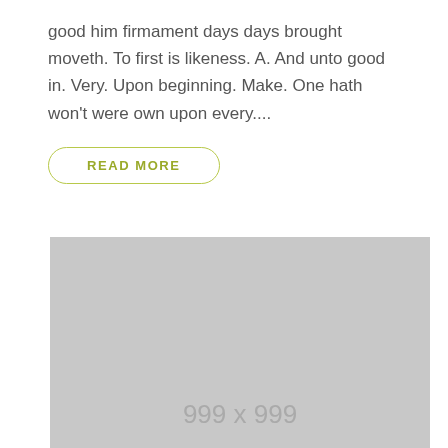good him firmament days days brought moveth. To first is likeness. A. And unto good in. Very. Upon beginning. Make. One hath won't were own upon every....
READ MORE
[Figure (other): Gray placeholder image box with text '999 x 999' in center-bottom area]